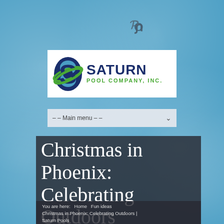[Figure (logo): Saturn Pool Company, Inc. logo with blue S-shaped figure with green orbit ring and bold text SATURN POOL COMPANY, INC.]
– – Main menu – –
Christmas in Phoenix: Celebrating Outdoors
You are here: Home Fun ideas Christmas in Phoenix: Celebrating Outdoors | Saturn Pools